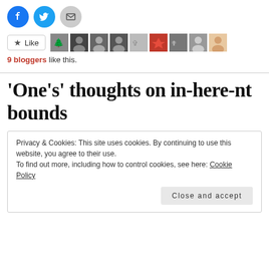[Figure (other): Social share buttons: Facebook (blue circle), Twitter (blue circle), Email (grey circle)]
[Figure (other): Like button with star icon and 9 blogger avatar thumbnails]
9 bloggers like this.
‘One’s’ thoughts on in-here-nt bounds
Privacy & Cookies: This site uses cookies. By continuing to use this website, you agree to their use.
To find out more, including how to control cookies, see here: Cookie Policy
Close and accept